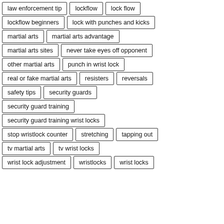law enforcement tip
lockflow
lock flow
lockflow beginners
lock with punches and kicks
martial arts
martial arts advantage
martial arts sites
never take eyes off opponent
other martial arts
punch in wrist lock
real or fake martial arts
resisters
reversals
safety tips
security guards
security guard training
security guard training wrist locks
stop wristlock counter
stretching
tapping out
tv martial arts
tv wrist locks
wrist lock adjustment
wristlocks
wrist locks